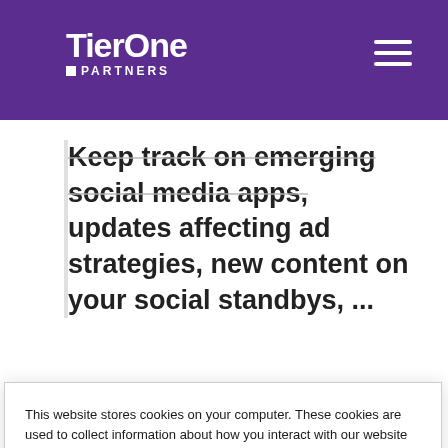Tier One Partners
Keep track on emerging social media apps, updates affecting ad strategies, new content on your social standbys, ...
This website stores cookies on your computer. These cookies are used to collect information about how you interact with our website and allow us to remember you. We use this information in order to improve and customize your browsing experience and for analytics and metrics about our visitors both on this website and other media. To find out more about the cookies we use, see our Privacy Policy.
If you decline, your information won't be tracked when you visit this website. A single cookie will be used in your browser to remember your preference not to be tracked.